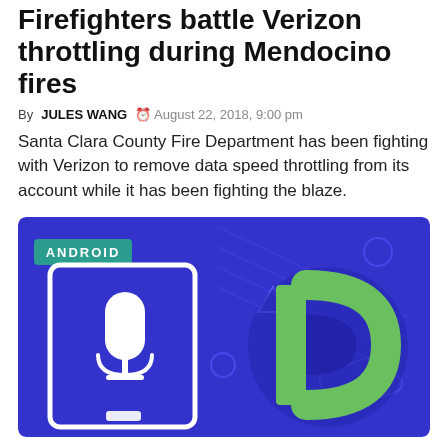Firefighters battle Verizon throttling during Mendocino fires
By JULES WANG  ⏰ August 22, 2018, 9:00 pm
Santa Clara County Fire Department has been fighting with Verizon to remove data speed throttling from its account while it has been fighting the blaze.
[Figure (illustration): Blue/indigo illustration with Android label badge, a white microphone icon on a tablet outline on the left, and the Android P logo (green letter P on dark blue background) on the right, with decorative geometric shapes.]
Android P rhymes with HP Elite